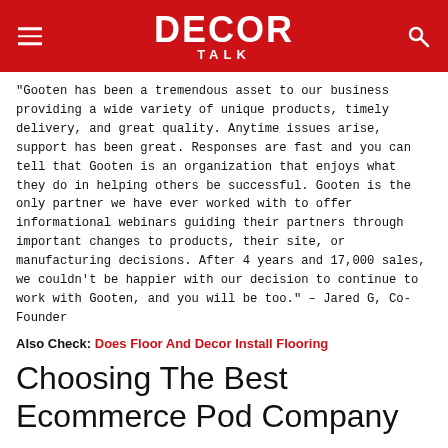DECOR TALK
“Gooten has been a tremendous asset to our business providing a wide variety of unique products, timely delivery, and great quality. Anytime issues arise, support has been great. Responses are fast and you can tell that Gooten is an organization that enjoys what they do in helping others be successful. Gooten is the only partner we have ever worked with to offer informational webinars guiding their partners through important changes to products, their site, or manufacturing decisions. After 4 years and 17,000 sales, we couldn’t be happier with our decision to continue to work with Gooten, and you will be too.” – Jared G, Co-Founder
Also Check: Does Floor And Decor Install Flooring
Choosing The Best Ecommerce Pod Company
When youre met with all the options of POD companies, you may wonder